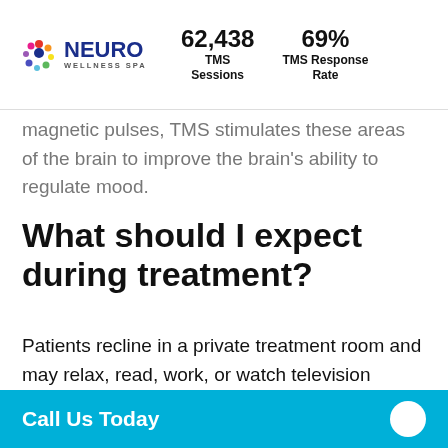NEURO WELLNESS SPA | 62,438 TMS Sessions | 69% TMS Response Rate
magnetic pulses, TMS stimulates these areas of the brain to improve the brain's ability to regulate mood.
What should I expect during treatment?
Patients recline in a private treatment room and may relax, read, work, or watch television during treatment. A TMS magnet is positioned over the
Call Us Today